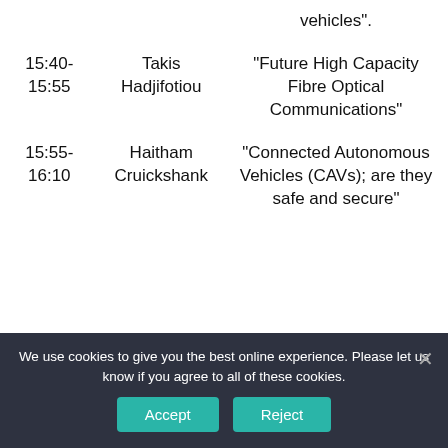| Time | Speaker | Title |
| --- | --- | --- |
|  |  | vehicles”. |
| 15:40-
15:55 | Takis
Hadjifotiou | “Future High Capacity Fibre Optical Communications” |
| 15:55-
16:10 | Haitham
Cruickshank | “Connected Autonomous Vehicles (CAVs); are they safe and secure” |
We use cookies to give you the best online experience. Please let us know if you agree to all of these cookies.